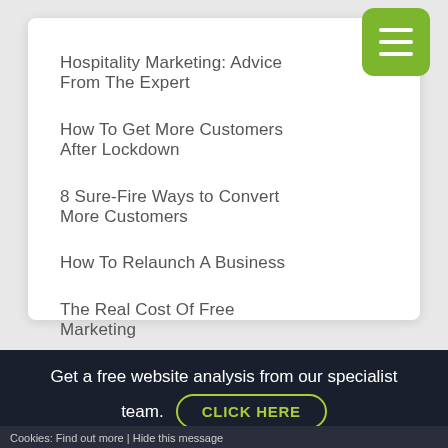Hospitality Marketing: Advice From The Expert
How To Get More Customers After Lockdown
8 Sure-Fire Ways to Convert More Customers
How To Relaunch A Business
The Real Cost Of Free Marketing
Reviewing Your Listening Strategy
Get a free website analysis from our specialist team.
CLICK HERE
Cookies: Find out more | Hide this message